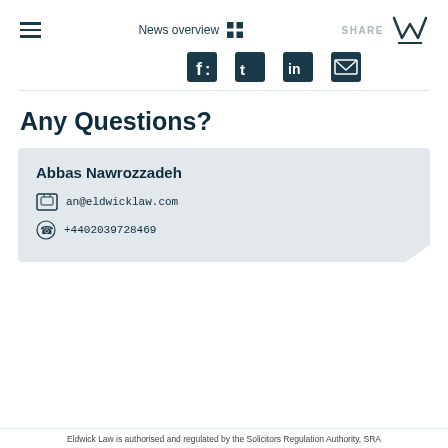News overview | SHARE
[Figure (screenshot): Navigation bar with hamburger menu, News overview link with grid icon, SHARE label, social media icons (Facebook, Twitter, LinkedIn, Email), and Eldwick Law W logo]
Any Questions?
Abbas Nawrozzadeh
an@eldwicklaw.com
+4402039728469
Eldwick Law is authorised and regulated by the Solicitors Regulation Authority, SRA